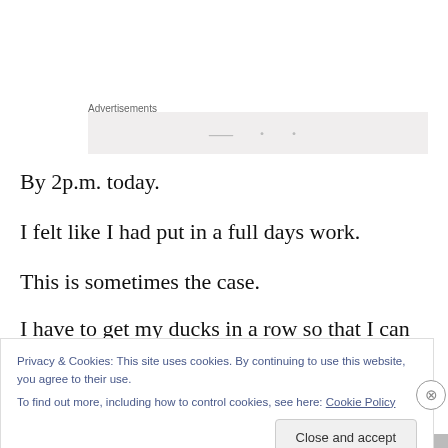Advertisements
[Figure (other): Advertisements placeholder banner with grey background and partial text visible]
By 2p.m. today.
I felt like I had put in a full days work.
This is sometimes the case.
I have to get my ducks in a row so that I can have a
Privacy & Cookies: This site uses cookies. By continuing to use this website, you agree to their use.
To find out more, including how to control cookies, see here: Cookie Policy